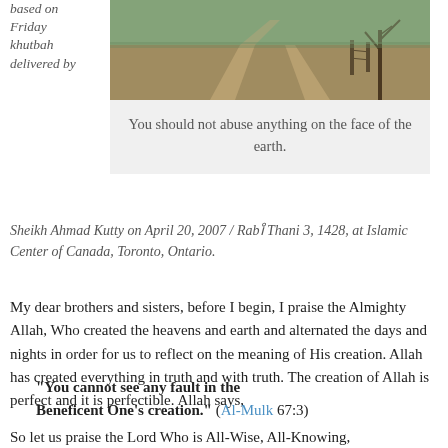based on Friday khutbah delivered by
[Figure (photo): A dirt road intersection in a rural field with a fence post and bare tree]
You should not abuse anything on the face of the earth.
Sheikh Ahmad Kutty on April 20, 2007 / Rabi Thani 3, 1428, at Islamic Center of Canada, Toronto, Ontario.
My dear brothers and sisters, before I begin, I praise the Almighty Allah, Who created the heavens and earth and alternated the days and nights in order for us to reflect on the meaning of His creation. Allah has created everything in truth and with truth. The creation of Allah is perfect and it is perfectible. Allah says,
“You cannot see any fault in the Beneficent One’s creation.” (Al-Mulk 67:3)
So let us praise the Lord Who is All-Wise, All-Knowing,